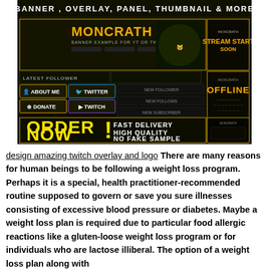[Figure (screenshot): A promotional banner for a Twitch overlay design service branded 'Moncrath'. Shows banner, overlay, panel, thumbnail examples with dark/yellow theme. Text reads 'BANNER, OVERLAY, PANEL, THUMBNAIL & MORE', 'ORDER NOW!', 'FAST DELIVERY HIGH QUALITY NO FAKE SAMPLE', 'STREAM START SOON', 'OFFLINE'.]
design amazing twitch overlay and logo There are many reasons for human beings to be following a weight loss program. Perhaps it is a special, health practitioner-recommended routine supposed to govern or save you sure illnesses consisting of excessive blood pressure or diabetes. Maybe a weight loss plan is required due to particular food allergic reactions like a gluten-loose weight loss program or for individuals who are lactose illiberal. The option of a weight loss plan along with